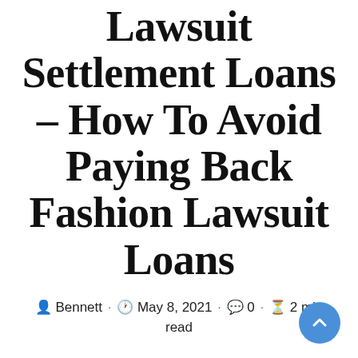Lawsuit Settlement Loans – How To Avoid Paying Back Fashion Lawsuit Loans
Bennett · May 8, 2021 · 0 · 2 min read